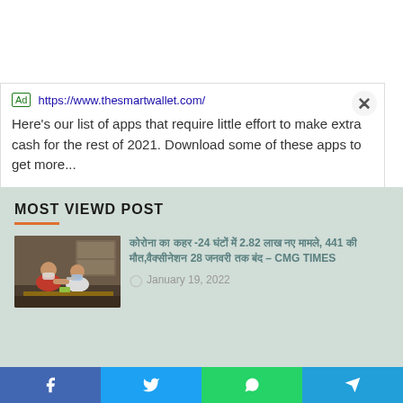[Figure (screenshot): Advertisement box showing thesmartwallet.com ad with Ad badge, URL, body text about apps to make extra cash, and two blue links: Get Paid To Play Games and Best Cash Back Apps. X close button in top right.]
MOST VIEWD POST
[Figure (photo): Photo showing people getting vaccinated, individuals in masks at a table]
कोरोना का कहर -24 घंटों में 2.82 लाख नए मामले, 441 की मौत,वैक्सीनेशन 28 जनवरी तक बंद – CMG TIMES
January 19, 2022
[Figure (screenshot): Bottom share bar with Facebook, Twitter, WhatsApp, and Telegram icons]